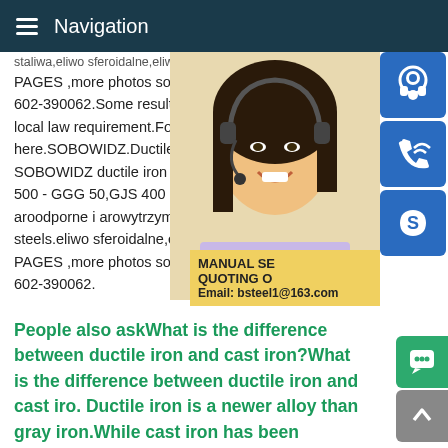Navigation
staliwa,eliwo sferoidalne,eliwo szare,staliwaPAGES ,more photos soon.contact Tel.(+4 602-390062.Some results are removed in local law requirement.For more information here.SOBOWIDZ.Ductile Iron.Cast Steel.C SOBOWIDZ ductile iron - nodular iron,gre 500 - GGG 50,GJS 400 - GGG 40,stainles aroodporne i arowytrzymae staliwa heat re steels.eliwo sferoidalne,eliwo szare,staliwaPAGES ,more photos soon.contact Tel.(+4 602-390062.
[Figure (photo): Woman with headset, customer service representative photo]
[Figure (infographic): Blue icon boxes: headset/support icon, phone/call icon, Skype icon. Yellow promotional box with text: MANUAL SE, QUOTING O, Email: bsteel1@163.com]
People also askWhat is the difference between ductile iron and cast iron?What is the difference between ductile iron and cast iro. Ductile iron is a newer alloy than gray iron.While cast iron has been around as far back as 5th century BC, ductile iron is a fi